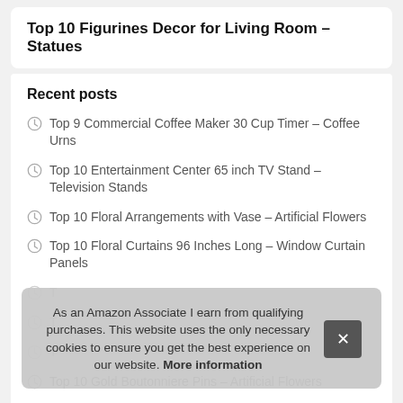Top 10 Figurines Decor for Living Room – Statues
Recent posts
Top 9 Commercial Coffee Maker 30 Cup Timer – Coffee Urns
Top 10 Entertainment Center 65 inch TV Stand – Television Stands
Top 10 Floral Arrangements with Vase – Artificial Flowers
Top 10 Floral Curtains 96 Inches Long – Window Curtain Panels
T [partially hidden]
T [partially hidden]
T [partially hidden]
Top 10 Gold Boutonniere Pins – Artificial Flowers
As an Amazon Associate I earn from qualifying purchases. This website uses the only necessary cookies to ensure you get the best experience on our website. More information